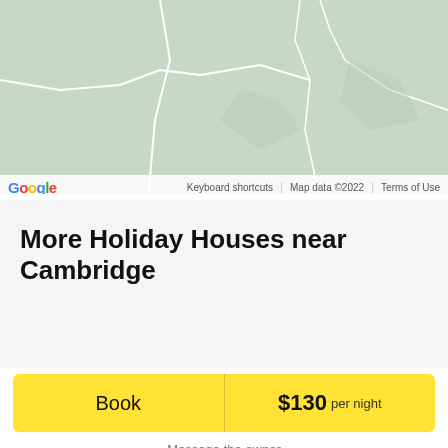[Figure (map): Google Maps screenshot showing a light green terrain map. Map footer shows Google logo, Keyboard shortcuts, Map data ©2022, and Terms of Use.]
More Holiday Houses near Cambridge
Book   $130 per night
Message the owner